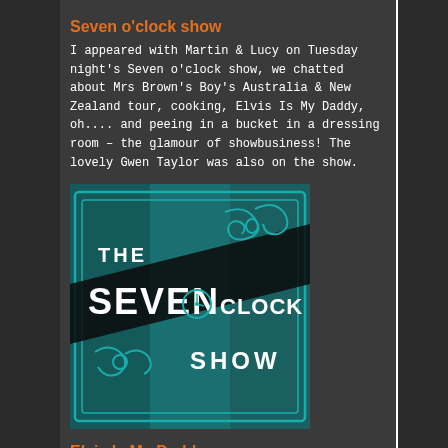Seven o'clock show
I appeared with Martin & Lucy on Tuesday night's Seven o'clock show, we chatted about Mrs Brown's Boy's Australia & New Zealand tour, cooking, Elvis Is My Daddy, oh.... and peeing in a bucket in a dressing room – the glamour of showbusiness! The lovely Gwen Taylor was also on the show.
[Figure (logo): The Seven O'Clock Show logo — teal/dark background with decorative scroll lettering]
Elvis Is My Daddy
Well we sold out The Civic Theatre, Tallaght on 4th & 5th November. Our audiences have been up on their feet singing and dancing, and have left the theatres